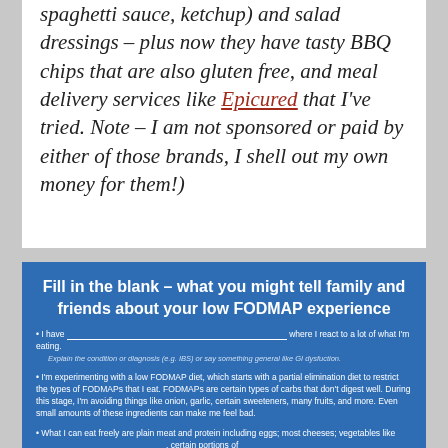spaghetti sauce, ketchup) and salad dressings – plus now they have tasty BBQ chips that are also gluten free, and meal delivery services like Epicured that I've tried. Note – I am not sponsored or paid by either of those brands, I shell out my own money for them!)
[Figure (infographic): Blue box titled 'Fill in the blank – what you might tell family and friends about your low FODMAP experience' with fill-in-the-blank prompts about having a condition, experimenting with low FODMAP diet, and what one can eat freely.]